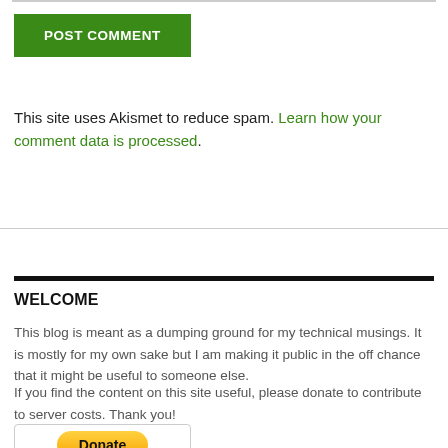[Figure (other): POST COMMENT green button]
This site uses Akismet to reduce spam. Learn how your comment data is processed.
WELCOME
This blog is meant as a dumping ground for my technical musings. It is mostly for my own sake but I am making it public in the off chance that it might be useful to someone else.
If you find the content on this site useful, please donate to contribute to server costs. Thank you!
[Figure (other): PayPal Donate button]